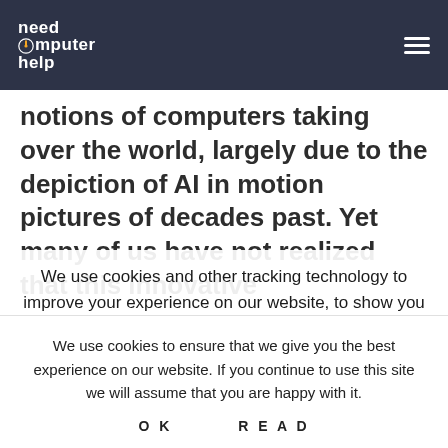need computer help
notions of computers taking over the world, largely due to the depiction of AI in motion pictures of decades past. Yet many of us have not realized that this innovative
We use cookies and other tracking technology to improve your experience on our website, to show you personalized content and targeted ads, to analyze our website traffic and to understand where our visitors are coming from. By browsing
We use cookies to ensure that we give you the best experience on our website. If you continue to use this site we will assume that you are happy with it.
OK   READ